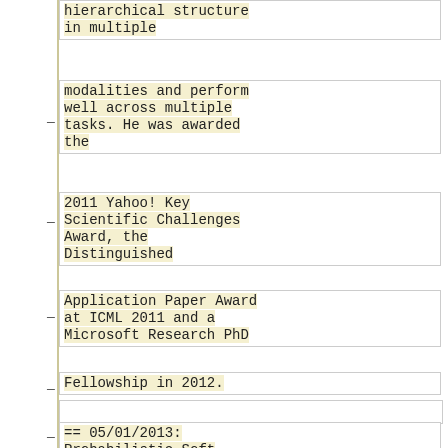hierarchical structure in multiple
modalities and perform well across multiple tasks. He was awarded the
2011 Yahoo! Key Scientific Challenges Award, the Distinguished
Application Paper Award at ICML 2011 and a Microsoft Research PhD
Fellowship in 2012.
== 05/01/2013: Probabilistic Soft Logic, Stephen Bach ==